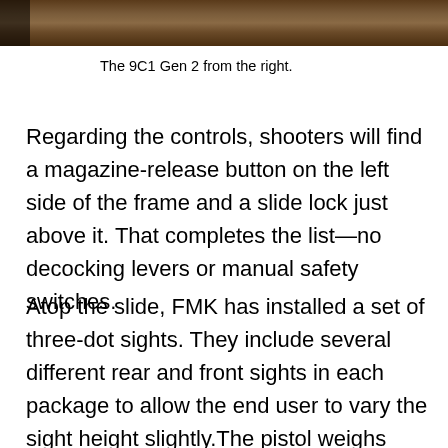[Figure (photo): Partial photo of the 9C1 Gen 2 pistol from the right side, cropped at the top of the page]
The 9C1 Gen 2 from the right.
Regarding the controls, shooters will find a magazine-release button on the left side of the frame and a slide lock just above it. That completes the list—no decocking levers or manual safety switches.
Atop the slide, FMK has installed a set of three-dot sights. They include several different rear and front sights in each package to allow the end user to vary the sight height slightly.The pistol weighs 23.45 oz. empty and